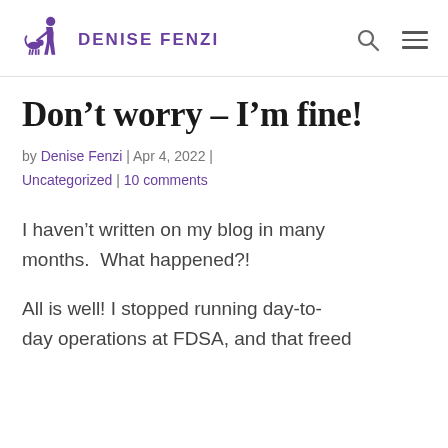Denise Fenzi
Don't worry – I'm fine!
by Denise Fenzi | Apr 4, 2022 | Uncategorized | 10 comments
I haven't written on my blog in many months.  What happened?!
All is well! I stopped running day-to-day operations at FDSA, and that freed